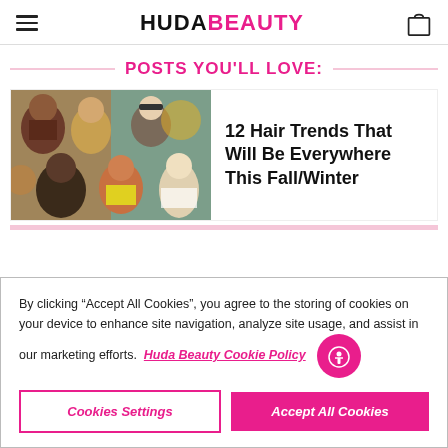HUDA BEAUTY
POSTS YOU'LL LOVE:
[Figure (photo): Collage of diverse women with different hair styles and colors]
12 Hair Trends That Will Be Everywhere This Fall/Winter
By clicking “Accept All Cookies”, you agree to the storing of cookies on your device to enhance site navigation, analyze site usage, and assist in our marketing efforts. Huda Beauty Cookie Policy
Cookies Settings
Accept All Cookies